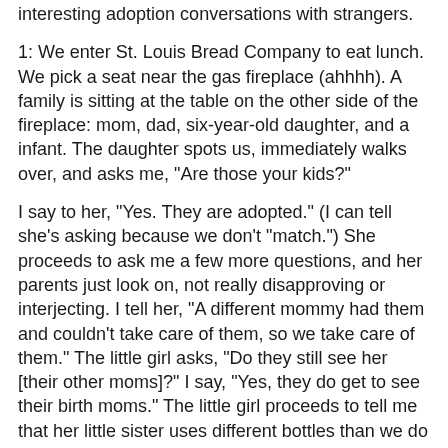interesting adoption conversations with strangers.
1: We enter St. Louis Bread Company to eat lunch. We pick a seat near the gas fireplace (ahhhh). A family is sitting at the table on the other side of the fireplace: mom, dad, six-year-old daughter, and a infant. The daughter spots us, immediately walks over, and asks me, "Are those your kids?"
I say to her, "Yes. They are adopted." (I can tell she's asking because we don't "match.") She proceeds to ask me a few more questions, and her parents just look on, not really disapproving or interjecting. I tell her, "A different mommy had them and couldn't take care of them, so we take care of them." The little girl asks, "Do they still see her [their other moms]?" I say, "Yes, they do get to see their birth moms." The little girl proceeds to tell me that her little sister uses different bottles than we do and her sister's name.
The mom tells her daughter it's time to order food. After they walk away, the dad leans my direction and says, "Thank you! You were so gracious." I responded that little kids her age are curious and the questions do not bother me.